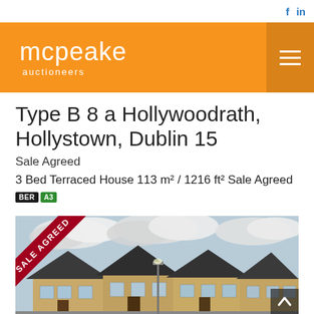f  in
[Figure (logo): mcpeake auctioneers logo on orange background with hamburger menu icon]
Type B 8 a Hollywoodrath, Hollystown, Dublin 15
Sale Agreed
3 Bed Terraced House 113 m² / 1216 ft² Sale Agreed
BER A3
[Figure (photo): Photo of terraced houses with brick facades and dark roofs under a cloudy sky, with a Sale Agreed diagonal ribbon banner in the top-left corner]